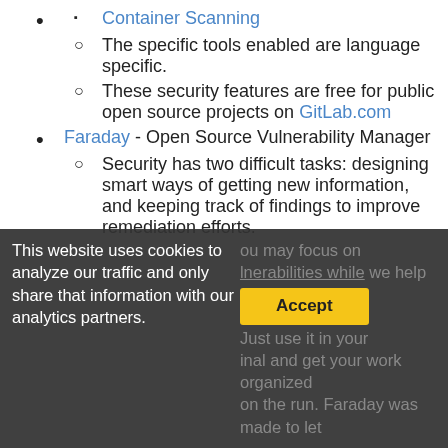Container Scanning
The specific tools enabled are language specific.
These security features are free for public open source projects on GitLab.com
Faraday - Open Source Vulnerability Manager
Security has two difficult tasks: designing smart ways of getting new information, and keeping track of findings to improve remediation efforts.
This website uses cookies to analyze our traffic and only share that information with our analytics partners.
Accept